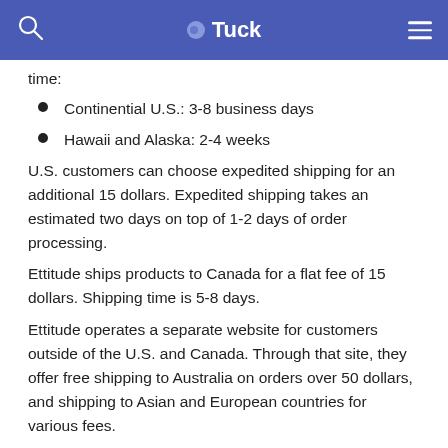Tuck
time:
Continential U.S.: 3-8 business days
Hawaii and Alaska: 2-4 weeks
U.S. customers can choose expedited shipping for an additional 15 dollars. Expedited shipping takes an estimated two days on top of 1-2 days of order processing.
Ettitude ships products to Canada for a flat fee of 15 dollars. Shipping time is 5-8 days.
Ettitude operates a separate website for customers outside of the U.S. and Canada. Through that site, they offer free shipping to Australia on orders over 50 dollars, and shipping to Asian and European countries for various fees.